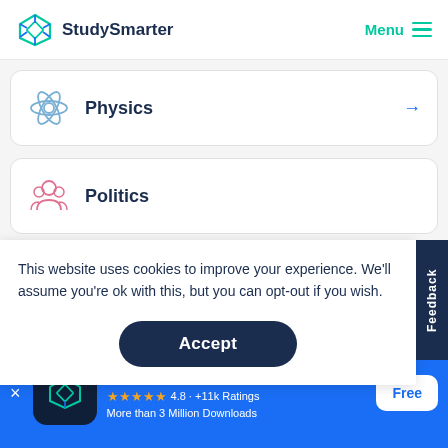[Figure (logo): StudySmarter logo with teal diamond/box icon and text 'StudySmarter']
Menu
Physics →
Politics →
This website uses cookies to improve your experience. We'll assume you're ok with this, but you can opt-out if you wish.
Accept
Feedback
StudySmarter - The all-in-one study app.
4.8 · +11k Ratings
More than 3 Million Downloads
Free